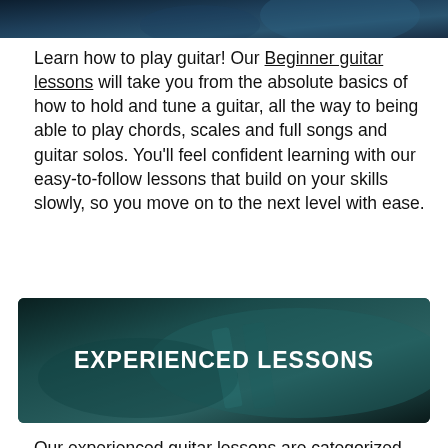[Figure (photo): Partial photo of a guitarist, dark blue tones, cropped at top of page]
Learn how to play guitar! Our Beginner guitar lessons will take you from the absolute basics of how to hold and tune a guitar, all the way to being able to play chords, scales and full songs and guitar solos. You’ll feel confident learning with our easy-to-follow lessons that build on your skills slowly, so you move on to the next level with ease.
[Figure (photo): Banner image showing an electric guitar with teal/dark teal overlay and the text EXPERIENCED LESSONS in white bold uppercase letters]
Our experienced guitar lessons are categorized into different genre courses so you can focus in on your favorite style. These courses teach not only the chords and songs of a particular style, but also the